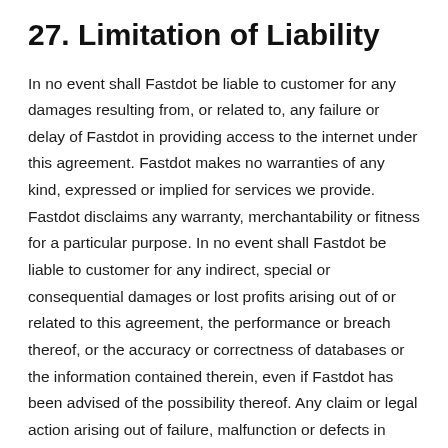27. Limitation of Liability
In no event shall Fastdot be liable to customer for any damages resulting from, or related to, any failure or delay of Fastdot in providing access to the internet under this agreement. Fastdot makes no warranties of any kind, expressed or implied for services we provide. Fastdot disclaims any warranty, merchantability or fitness for a particular purpose. In no event shall Fastdot be liable to customer for any indirect, special or consequential damages or lost profits arising out of or related to this agreement, the performance or breach thereof, or the accuracy or correctness of databases or the information contained therein, even if Fastdot has been advised of the possibility thereof. Any claim or legal action arising out of failure, malfunction or defects in Fastdot services or goods, or arising from this contract in any respect, shall be brought within a period of one (1) year following the occurrence providing rise to